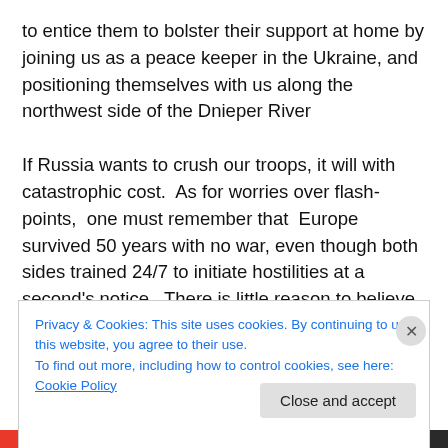to entice them to bolster their support at home by joining us as a peace keeper in the Ukraine, and positioning themselves with us along the northwest side of the Dnieper River

If Russia wants to crush our troops, it will with catastrophic cost.  As for worries over flash-points,  one must remember that  Europe survived 50 years with no war, even though both sides trained 24/7 to initiate hostilities at a second's notice.  There is little reason to believe the Russians desire to commit suicide and fight a ground war
Privacy & Cookies: This site uses cookies. By continuing to use this website, you agree to their use.
To find out more, including how to control cookies, see here: Cookie Policy
Close and accept